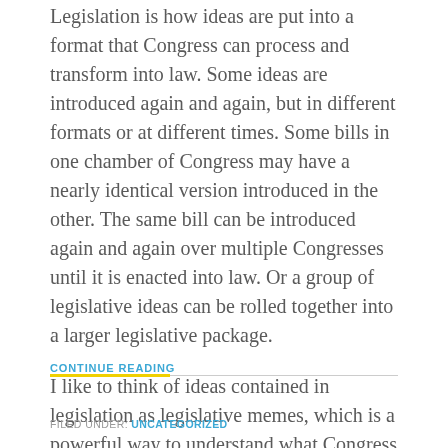Legislation is how ideas are put into a format that Congress can process and transform into law. Some ideas are introduced again and again, but in different formats or at different times. Some bills in one chamber of Congress may have a nearly identical version introduced in the other. The same bill can be introduced again and again over multiple Congresses until it is enacted into law. Or a group of legislative ideas can be rolled together into a larger legislative package.
I like to think of ideas contained in legislation as legislative memes, which is a powerful way to understand what Congress is doing. We are working on a legislative tool, call BillMap, that allows you to track legislative memes as they move through Congress.
CONTINUE READING
FILED UNDER: UNCATEGORIZED